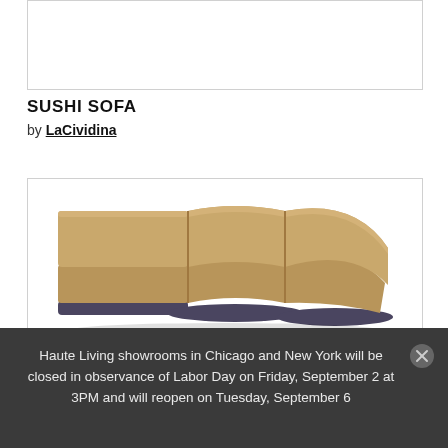[Figure (photo): Top placeholder image area (white/light gray box, product image above the fold)]
SUSHI SOFA
by LaCividina
[Figure (photo): Photo of the Sushi Sofa by LaCividina — a modular curved sectional sofa in tan/caramel upholstery with dark charcoal base, arranged in a curved C-shape configuration on white background]
Haute Living showrooms in Chicago and New York will be closed in observance of Labor Day on Friday, September 2 at 3PM and will reopen on Tuesday, September 6